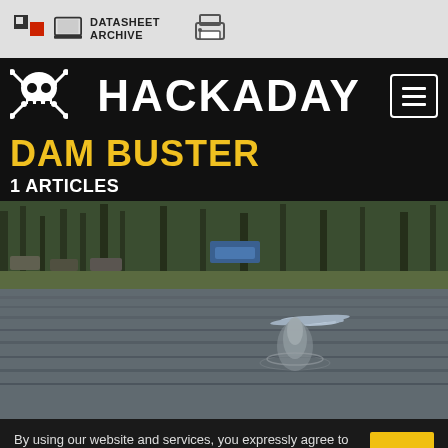DATASHEET ARCHIVE
HACKADAY
DAM BUSTER
1 ARTICLES
[Figure (photo): A small model aircraft skimming low over a lake/pond, with a water spray impact below it. Trees and parked cars are visible on the far bank. The scene is outdoors in autumn/winter with bare trees.]
By using our website and services, you expressly agree to the placement of our performance, functionality and advertising cookies. Learn more